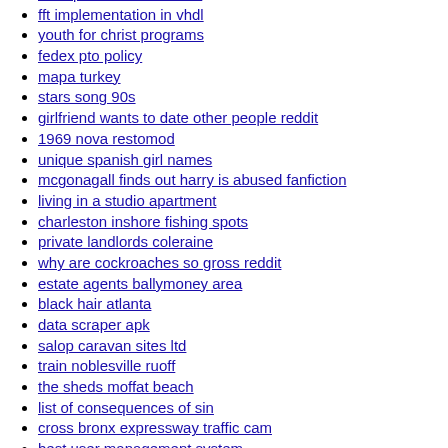fft implementation in vhdl
youth for christ programs
fedex pto policy
mapa turkey
stars song 90s
girlfriend wants to date other people reddit
1969 nova restomod
unique spanish girl names
mcgonagall finds out harry is abused fanfiction
living in a studio apartment
charleston inshore fishing spots
private landlords coleraine
why are cockroaches so gross reddit
estate agents ballymoney area
black hair atlanta
data scraper apk
salop caravan sites ltd
train noblesville ruoff
the sheds moffat beach
list of consequences of sin
cross bronx expressway traffic cam
best user management system
metricon head office
blueberry blast mad labs
free adult xxx porn sex streams